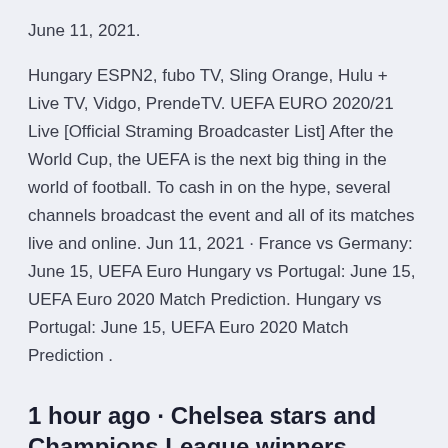June 11, 2021.
Hungary ESPN2, fubo TV, Sling Orange, Hulu + Live TV, Vidgo, PrendeTV. UEFA EURO 2020/21 Live [Official Straming Broadcaster List] After the World Cup, the UEFA is the next big thing in the world of football. To cash in on the hype, several channels broadcast the event and all of its matches live and online. Jun 11, 2021 · France vs Germany: June 15, UEFA Euro Hungary vs Portugal: June 15, UEFA Euro 2020 Match Prediction. Hungary vs Portugal: June 15, UEFA Euro 2020 Match Prediction .
1 hour ago · Chelsea stars and Champions League winners Werner and Havertz get ready for